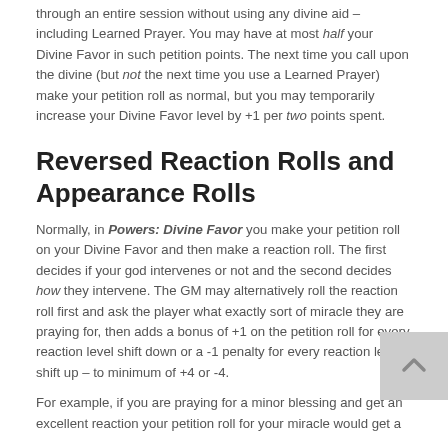through an entire session without using any divine aid – including Learned Prayer. You may have at most half your Divine Favor in such petition points. The next time you call upon the divine (but not the next time you use a Learned Prayer) make your petition roll as normal, but you may temporarily increase your Divine Favor level by +1 per two points spent.
Reversed Reaction Rolls and Appearance Rolls
Normally, in Powers: Divine Favor you make your petition roll on your Divine Favor and then make a reaction roll. The first decides if your god intervenes or not and the second decides how they intervene. The GM may alternatively roll the reaction roll first and ask the player what exactly sort of miracle they are praying for, then adds a bonus of +1 on the petition roll for every reaction level shift down or a -1 penalty for every reaction level shift up – to minimum of +4 or -4.
For example, if you are praying for a minor blessing and get an excellent reaction your petition roll for your miracle would get a